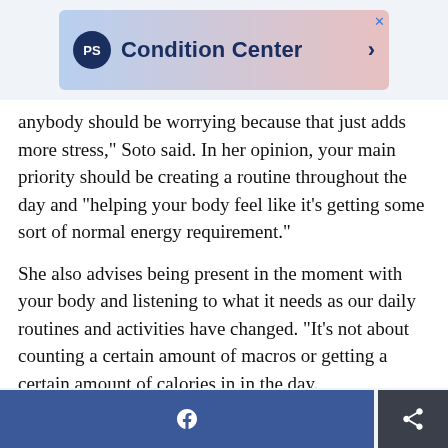[Figure (screenshot): PopSugar Condition Center advertisement banner with gradient background (blue to pink), PS logo in dark blue circle, bold text 'Condition Center' with a right arrow, and a close X button.]
anybody should be worrying because that just adds more stress," Soto said. In her opinion, your main priority should be creating a routine throughout the day and "helping your body feel like it's getting some sort of normal energy requirement."
She also advises being present in the moment with your body and listening to what it needs as our daily routines and activities have changed. "It's not about counting a certain amount of macros or getting a certain amount of calories in in the day.
[Figure (screenshot): Bottom navigation bar with Facebook share button (blue) and a share/forward icon button (dark grey).]